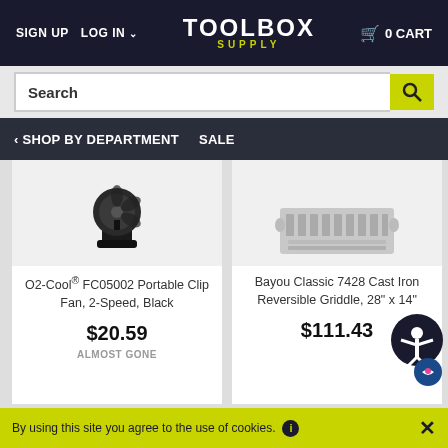SIGN UP   LOG IN   TOOLBOX SUPPLY   0 CART
Search
SHOP BY DEPARTMENT   SALE
[Figure (photo): O2-Cool portable clip fan, black, 2-speed]
O2-Cool® FC05002 Portable Clip Fan, 2-Speed, Black
$20.59
ALMOST GONE
[Figure (photo): Bayou Classic 7428 Cast Iron Reversible Griddle]
Bayou Classic 7428 Cast Iron Reversible Griddle, 28" x 14"
$111.43
FREE SHIPPING OVER $35
By using this site you agree to the use of cookies.